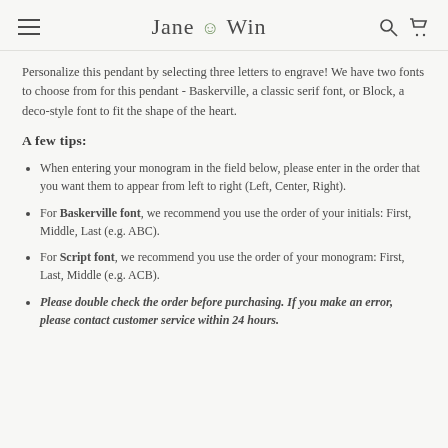Jane Win
Personalize this pendant by selecting three letters to engrave! We have two fonts to choose from for this pendant - Baskerville, a classic serif font, or Block, a deco-style font to fit the shape of the heart.
A few tips:
When entering your monogram in the field below, please enter in the order that you want them to appear from left to right (Left, Center, Right).
For Baskerville font, we recommend you use the order of your initials: First, Middle, Last (e.g. ABC).
For Script font, we recommend you use the order of your monogram: First, Last, Middle (e.g. ACB).
Please double check the order before purchasing. If you make an error, please contact customer service within 24 hours.